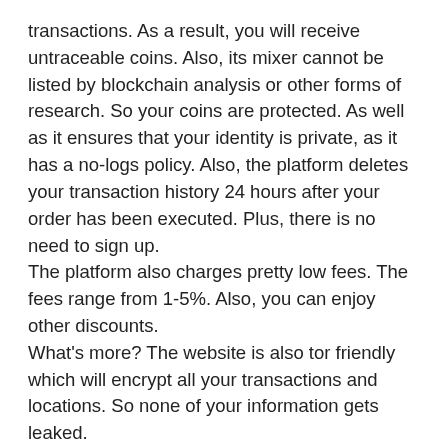transactions. As a result, you will receive untraceable coins. Also, its mixer cannot be listed by blockchain analysis or other forms of research. So your coins are protected. As well as it ensures that your identity is private, as it has a no-logs policy. Also, the platform deletes your transaction history 24 hours after your order has been executed. Plus, there is no need to sign up.
The platform also charges pretty low fees. The fees range from 1-5%. Also, you can enjoy other discounts.
What's more? The website is also tor friendly which will encrypt all your transactions and locations. So none of your information gets leaked.
7. [url=https://mixer-btc.com]ChipMixer[/url]
First of all, there is the ChipMixer. This one is one of the popular Bitcoin mixers available out there, which is pretty easy to use and secure. The user interface is so simple that you don't need any technical expertise to use it.